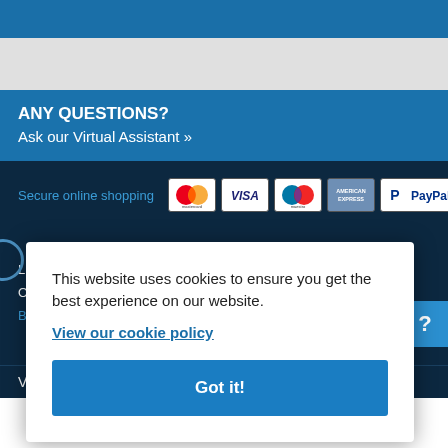[Figure (screenshot): Top blue navigation bar (partial, cropped)]
ANY QUESTIONS?
Ask our Virtual Assistant »
Secure online shopping
[Figure (illustration): Payment icons: Mastercard, Visa, Maestro, American Express, PayPal]
This website uses cookies to ensure you get the best experience on our website.
View our cookie policy
Got it!
Visit the Help Centre